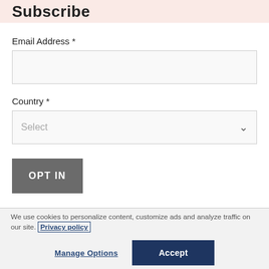Subscribe
Email Address *
Country *
OPT IN
We use cookies to personalize content, customize ads and analyze traffic on our site. Privacy policy
Manage Options
Accept